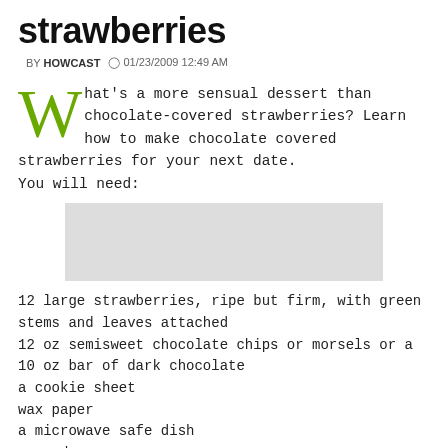strawberries
BY HOWCAST   01/23/2009 12:49 AM
What's a more sensual dessert than chocolate-covered strawberries? Learn how to make chocolate covered strawberries for your next date.
You will need:
[Figure (other): Gray placeholder rectangle for embedded video]
12 large strawberries, ripe but firm, with green stems and leaves attached
12 oz semisweet chocolate chips or morsels or a 10 oz bar of dark chocolate
a cookie sheet
wax paper
a microwave safe dish
a wooden spoon